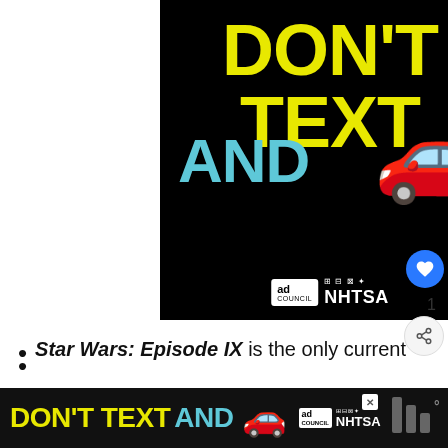[Figure (infographic): Black background advertisement with text 'DON'T TEXT AND' (in yellow and cyan) with a red car emoji, Ad Council and NHTSA logos]
Star Wars: Episode IX is the only current Star Wars movie with a release date
[Figure (infographic): Bottom sticky ad banner: 'DON'T TEXT AND' with car emoji and NHTSA/Ad Council logos on black background]